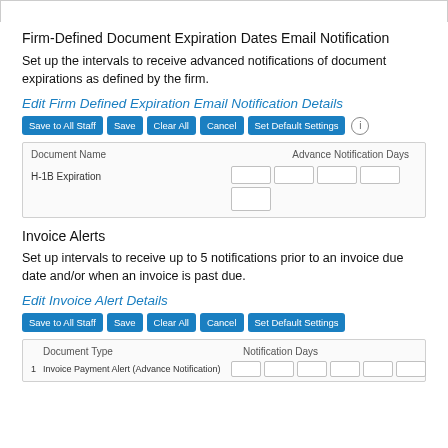Firm-Defined Document Expiration Dates Email Notification
Set up the intervals to receive advanced notifications of document expirations as defined by the firm.
Edit Firm Defined Expiration Email Notification Details
[Figure (screenshot): Button row with Save to All Staff, Save, Clear All, Cancel, Set Default Settings buttons and info icon]
| Document Name | Advance Notification Days |
| --- | --- |
| H-1B Expiration | [input fields] |
Invoice Alerts
Set up intervals to receive up to 5 notifications prior to an invoice due date and/or when an invoice is past due.
Edit Invoice Alert Details
[Figure (screenshot): Button row with Save to All Staff, Save, Clear All, Cancel, Set Default Settings buttons]
| Document Type | Notification Days |
| --- | --- |
| 1  Invoice Payment Alert (Advance Notification) | [input fields] |